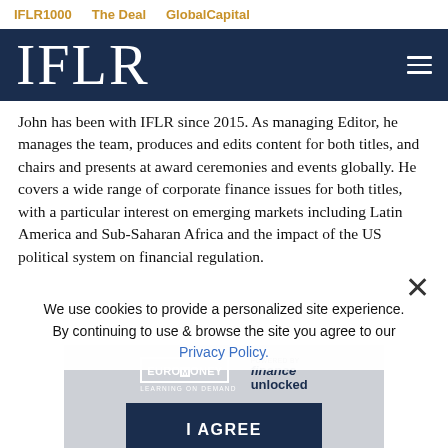IFLR1000   The Deal   GlobalCapital
IFLR
John has been with IFLR since 2015. As managing Editor, he manages the team, produces and edits content for both titles, and chairs and presents at award ceremonies and events globally. He covers a wide range of corporate finance issues for both titles, with a particular interest on emerging markets including Latin America and Sub-Saharan Africa and the impact of the US political system on financial regulation.
We use cookies to provide a personalized site experience. By continuing to use & browse the site you agree to our Privacy Policy.
[Figure (screenshot): Cookie consent banner with I AGREE button and Euromoney / finance unlocked branding, Master new skills text at bottom]